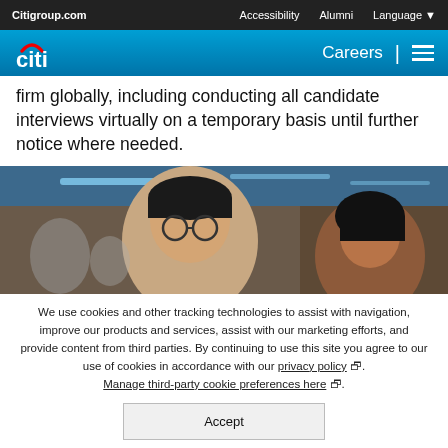Citigroup.com | Accessibility | Alumni | Language
[Figure (logo): Citi logo and Careers navigation header with blue gradient background]
firm globally, including conducting all candidate interviews virtually on a temporary basis until further notice where needed.
[Figure (photo): Two young professionals, a man with glasses and a woman, in an office or event setting with blue ambient lighting]
We use cookies and other tracking technologies to assist with navigation, improve our products and services, assist with our marketing efforts, and provide content from third parties. By continuing to use this site you agree to our use of cookies in accordance with our privacy policy. Manage third-party cookie preferences here.
Accept